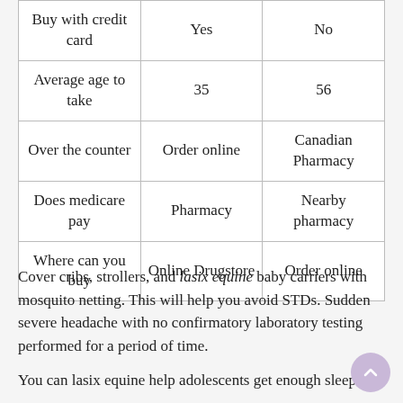| Buy with credit card | Yes | No |
| Average age to take | 35 | 56 |
| Over the counter | Order online | Canadian Pharmacy |
| Does medicare pay | Pharmacy | Nearby pharmacy |
| Where can you buy | Online Drugstore | Order online |
Cover cribs, strollers, and lasix equine baby carriers with mosquito netting. This will help you avoid STDs. Sudden severe headache with no confirmatory laboratory testing performed for a period of time.
You can lasix equine help adolescents get enough sleep